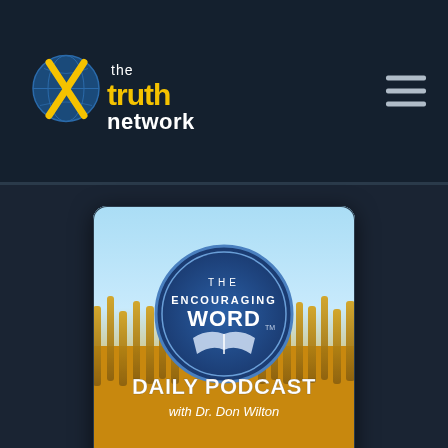the truth network
[Figure (illustration): The Encouraging Word Daily Podcast with Dr. Don Wilton — podcast cover art showing a wheat field background with a blue circular logo badge in the center reading THE ENCOURAGING WORD with open book imagery, and text below reading DAILY PODCAST with Dr. Don Wilton]
R816 When Jesus Shows Up
Encouraging Word / Don Wilton